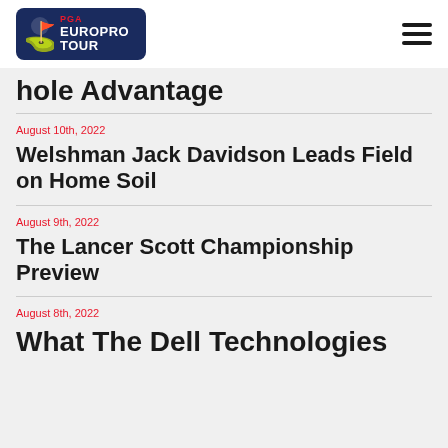PGA EUROPRO TOUR
hole Advantage
August 10th, 2022
Welshman Jack Davidson Leads Field on Home Soil
August 9th, 2022
The Lancer Scott Championship Preview
August 8th, 2022
What The Dell Technologies